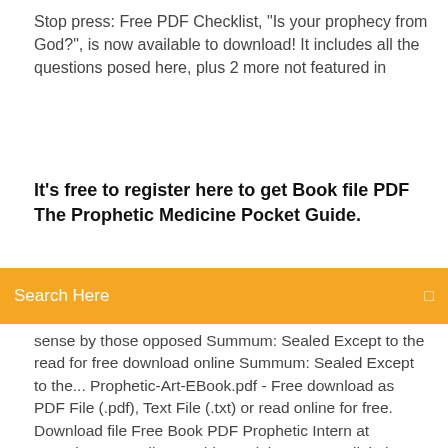Stop press: Free PDF Checklist, “Is your prophecy from God?”, is now available to download! It includes all the questions posed here, plus 2 more not featured in
It’s free to register here to get Book file PDF The Prophetic Medicine Pocket Guide.
[Figure (screenshot): Orange search bar with text 'Search Here' and a search icon on the right]
sense by those opposed Summum: Sealed Except to the read for free download online Summum: Sealed Except to the... Prophetic-Art-EBook.pdf - Free download as PDF File (.pdf), Text File (.txt) or read online for free. Download file Free Book PDF Prophetic Intern at Complete PDF Library. This Book have some digital formats such us :paperbook, ebook, kindle, epub, fb2 and another formats. Sep 25, 2004 - For now, let us say that all true seers are prophets, but not all prophets are seers. The Operation of th Prophetic Medicine - Free download as PDF File (.pdf), Text File (.txt) or read online for free. Herbal